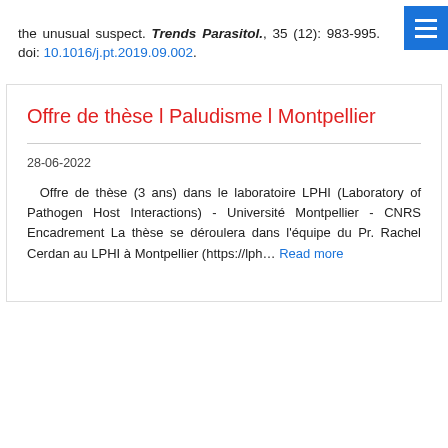the unusual suspect. Trends Parasitol., 35 (12): 983-995. doi: 10.1016/j.pt.2019.09.002.
Offre de thèse l Paludisme l Montpellier
28-06-2022
Offre de thèse (3 ans) dans le laboratoire LPHI (Laboratory of Pathogen Host Interactions) - Université Montpellier - CNRS Encadrement La thèse se déroulera dans l'équipe du Pr. Rachel Cerdan au LPHI à Montpellier (https://lph… Read more